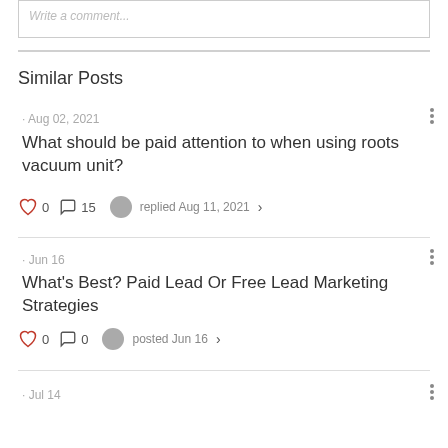Write a comment...
Similar Posts
· Aug 02, 2021
What should be paid attention to when using roots vacuum unit?
0  15  replied Aug 11, 2021
· Jun 16
What's Best? Paid Lead Or Free Lead Marketing Strategies
0  0  posted Jun 16
· Jul 14